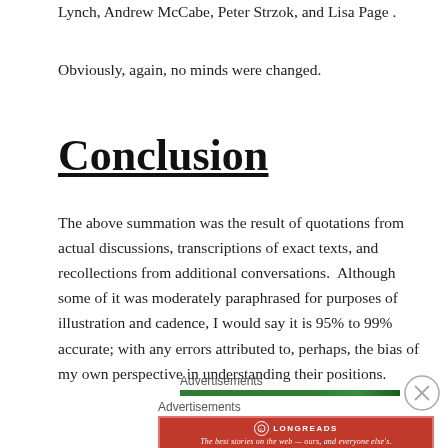Lynch, Andrew McCabe, Peter Strzok, and Lisa Page .
Obviously, again, no minds were changed.
Conclusion
The above summation was the result of quotations from actual discussions, transcriptions of exact texts, and recollections from additional conversations. Although some of it was moderately paraphrased for purposes of illustration and cadence, I would say it is 95% to 99% accurate; with any errors attributed to, perhaps, the bias of my own perspective in understanding their positions.
Advertisements
Advertisements
[Figure (logo): Longreads advertisement banner: red background with Longreads logo and tagline 'The best stories on the web — ours, and everyone else's.']